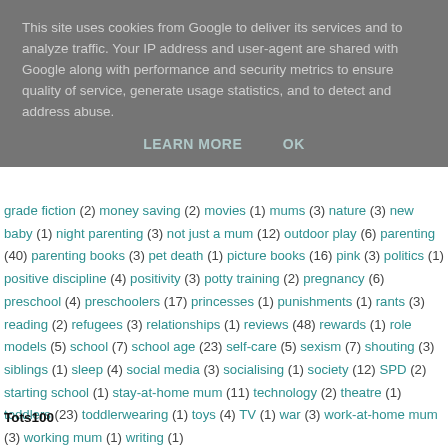This site uses cookies from Google to deliver its services and to analyze traffic. Your IP address and user-agent are shared with Google along with performance and security metrics to ensure quality of service, generate usage statistics, and to detect and address abuse.
LEARN MORE   OK
grade fiction (2) money saving (2) movies (1) mums (3) nature (3) new baby (1) night parenting (3) not just a mum (12) outdoor play (6) parenting (40) parenting books (3) pet death (1) picture books (16) pink (3) politics (1) positive discipline (4) positivity (3) potty training (2) pregnancy (6) preschool (4) preschoolers (17) princesses (1) punishments (1) rants (3) reading (2) refugees (3) relationships (1) reviews (48) rewards (1) role models (5) school (7) school age (23) self-care (5) sexism (7) shouting (3) siblings (1) sleep (4) social media (3) socialising (1) society (12) SPD (2) starting school (1) stay-at-home mum (11) technology (2) theatre (1) toddlers (23) toddlerwearing (1) toys (4) TV (1) war (3) work-at-home mum (3) working mum (1) writing (1)
Tots100